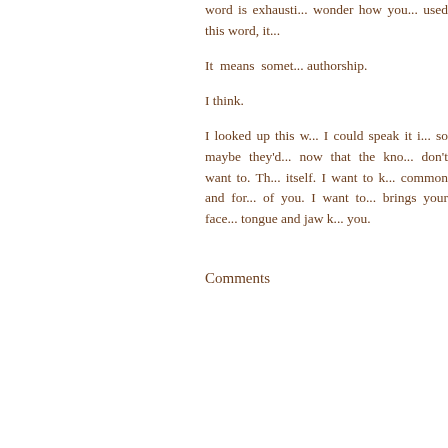word is exhausti... wonder how you... used this word, it...
It means somet... authorship.
I think.
I looked up this w... I could speak it i... so maybe they'd... now that the kno... don't want to. Th... itself. I want to k... common and for... of you. I want to... brings your face... tongue and jaw k... you.
Comments